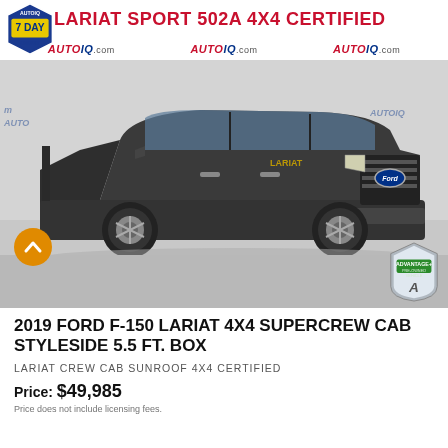LARIAT SPORT 502A 4X4 CERTIFIED
[Figure (photo): Gray 2019 Ford F-150 Lariat 4x4 SuperCrew Cab truck photographed from a front 3/4 angle on a concrete surface. Multiple AUTOIQ.com watermarks visible. An orange circular up-arrow navigation button overlays the left side. An Advantage+ Pre-Owned Vehicle badge is in the lower right corner.]
2019 FORD F-150 LARIAT 4X4 SUPERCREW CAB STYLESIDE 5.5 FT. BOX
LARIAT CREW CAB SUNROOF 4X4 CERTIFIED
Price: $49,985
Price does not include licensing fees.